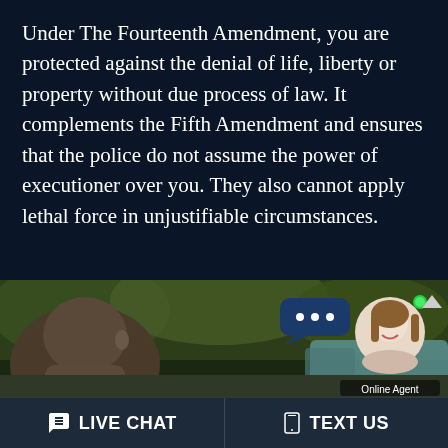Under The Fourteenth Amendment, you are protected against the denial of life, liberty or property without due process of law. It complements the Fifth Amendment and ensures that the police do not assume the power of executioner over you. They also cannot apply lethal force in unjustifiable circumstances.
[Figure (photo): A person seen from behind with short hair, outdoor setting with cars and trees blurred in background. An online chat widget overlay in the top right corner shows a female agent avatar with a green online indicator dot and a speech bubble icon.]
Online Agent
LIVE CHAT
TEXT US